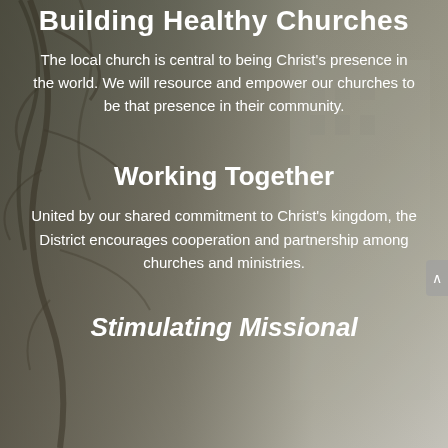Building Healthy Churches
The local church is central to being Christ's presence in the world. We will resource and empower our churches to be that presence in their community.
Working Together
United by our shared commitment to Christ's kingdom, the District encourages cooperation and partnership among churches and ministries.
Stimulating Missional